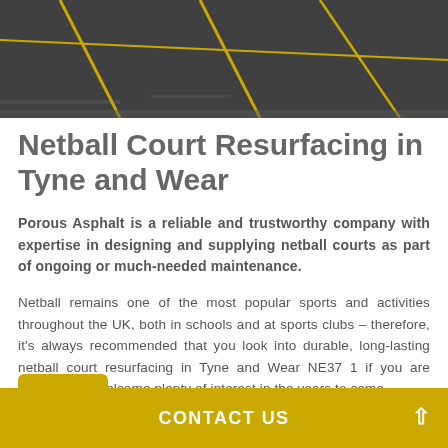[Figure (photo): Aerial or close-up view of a dark asphalt netball court surface with yellow/gold court lines painted on it.]
Netball Court Resurfacing in Tyne and Wear
Porous Asphalt is a reliable and trustworthy company with expertise in designing and supplying netball courts as part of ongoing or much-needed maintenance.
Netball remains one of the most popular sports and activities throughout the UK, both in schools and at sports clubs – therefore, it's always recommended that you look into durable, long-lasting netball court resurfacing in Tyne and Wear NE37 1 if you are expecting to welcome plenty of interest in the years to come.
CONTACT US